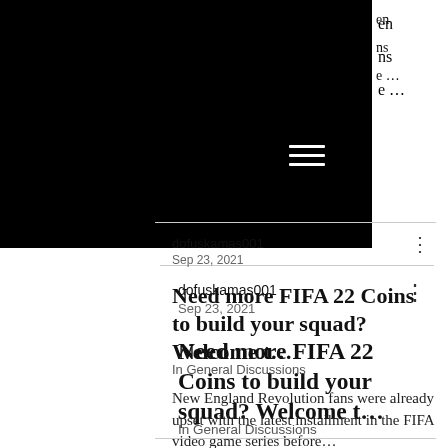[Figure (screenshot): Black header banner with hamburger menu icon (three white horizontal lines) on dark background. Partial text visible on right side: 'en', 'ns', 'e ...']
en
ns
e ...
dofuskamas001
Sep 23, 2021
Need more FIFA 22 Coins to build your squad? Welcome t…
In General Discussions
New England Revolution fans were already upset with the latest installment in the FIFA video game series before…
0   6   27